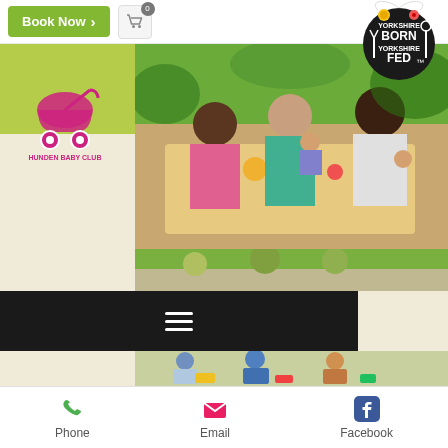[Figure (screenshot): Mobile website screenshot for Hunden Baby Club / Yorkshire Born Yorkshire Fed. Shows Book Now button, cart icon, Yorkshire Born Yorkshire Fed logo, photos of mothers with babies and children playing, hamburger menu, and Weaning and Parenting title.]
Weaning and Parenting
Phone   Email   Facebook